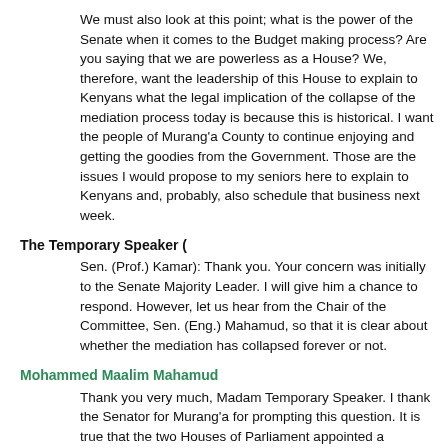We must also look at this point; what is the power of the Senate when it comes to the Budget making process? Are you saying that we are powerless as a House? We, therefore, want the leadership of this House to explain to Kenyans what the legal implication of the collapse of the mediation process today is because this is historical. I want the people of Murang'a County to continue enjoying and getting the goodies from the Government. Those are the issues I would propose to my seniors here to explain to Kenyans and, probably, also schedule that business next week.
The Temporary Speaker (
Sen. (Prof.) Kamar): Thank you. Your concern was initially to the Senate Majority Leader. I will give him a chance to respond. However, let us hear from the Chair of the Committee, Sen. (Eng.) Mahamud, so that it is clear about whether the mediation has collapsed forever or not.
Mohammed Maalim Mahamud
Thank you very much, Madam Temporary Speaker. I thank the Senator for Murang'a for prompting this question. It is true that the two Houses of Parliament appointed a Mediation Committee, in which we five of us from this House were members. In fact, we